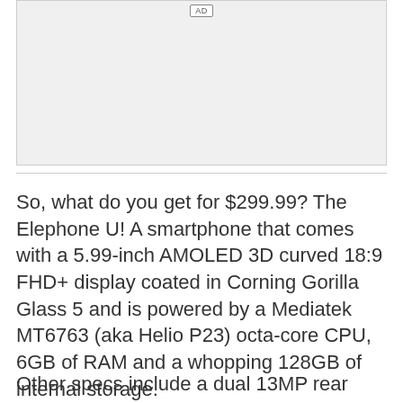[Figure (other): Placeholder image area with an AD badge at the top center]
So, what do you get for $299.99? The Elephone U! A smartphone that comes with a 5.99-inch AMOLED 3D curved 18:9 FHD+ display coated in Corning Gorilla Glass 5 and is powered by a Mediatek MT6763 (aka Helio P23) octa-core CPU, 6GB of RAM and a whopping 128GB of internal storage.
Other specs include a dual 13MP rear camera combo running on ArcSoft algorithm, an 8MP